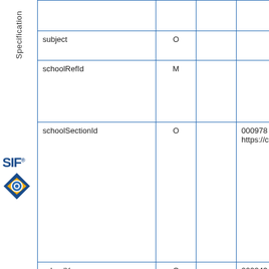[Figure (logo): SIF Specification logo with rotated text and diamond icon on left sidebar]
| Name | Flag |  | Reference |
| --- | --- | --- | --- |
|  |  |  |  |
| subject | O |  |  |
| schoolRefId | M |  |  |
| schoolSectionId | O |  | 000978
https://ceds.ed.g... |
| schoolYear | O |  | 000243
https://ceds.ed.g... |